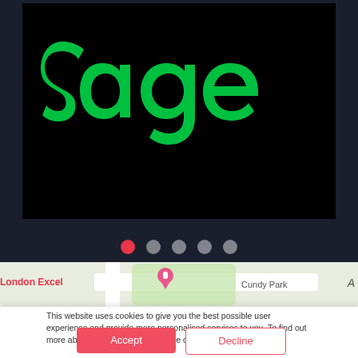[Figure (logo): Sage company logo — bright green 'sage' lettering on black background, partially visible with dark navy background surround]
[Figure (other): Carousel dot navigation: 5 dots, first dot is red/active, remaining 4 are grey/inactive]
[Figure (map): Map strip showing London Excel location with pink pin marker, Cundy Park label, roads and green areas visible]
This website uses cookies to give you the best possible user experience and provide more personalised services to you. To find out more about the cookies we use, see our Privacy Policy.
Accept
Decline